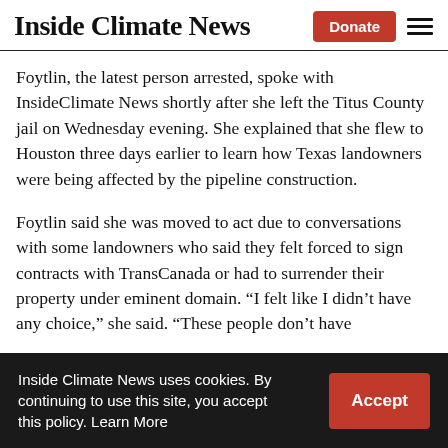Inside Climate News
Foytlin, the latest person arrested, spoke with InsideClimate News shortly after she left the Titus County jail on Wednesday evening. She explained that she flew to Houston three days earlier to learn how Texas landowners were being affected by the pipeline construction.
Foytlin said she was moved to act due to conversations with some landowners who said they felt forced to sign contracts with TransCanada or had to surrender their property under eminent domain. “I felt like I didn’t have any choice,” she said. “These people don’t have
Inside Climate News uses cookies. By continuing to use this site, you accept this policy. Learn More